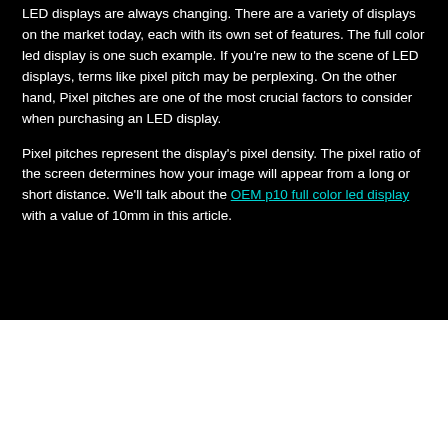LED displays are always changing. There are a variety of displays on the market today, each with its own set of features. The full color led display is one such example. If you're new to the scene of LED displays, terms like pixel pitch may be perplexing. On the other hand, Pixel pitches are one of the most crucial factors to consider when purchasing an LED display.
Pixel pitches represent the display's pixel density. The pixel ratio of the screen determines how your image will appear from a long or short distance. We'll talk about the OEM p10 full color led display with a value of 10mm in this article.